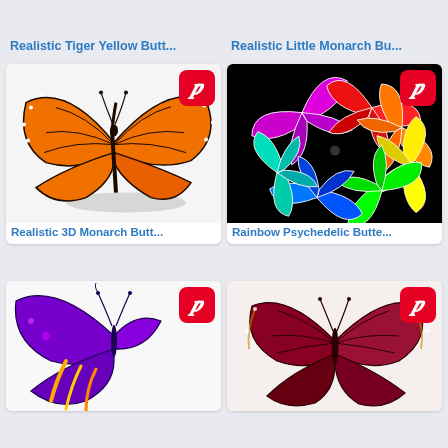Realistic Tiger Yellow Butt...
Realistic Little Monarch Bu...
[Figure (photo): Realistic 3D monarch butterfly with orange and black wings on white background with shadow]
[Figure (photo): Rainbow psychedelic butterflies arranged in a pinwheel pattern on black background]
Realistic 3D Monarch Butt...
Rainbow Psychedelic Butte...
[Figure (photo): Colorful purple and gold butterfly on white background]
[Figure (photo): Dark red and brown realistic butterfly on white background]